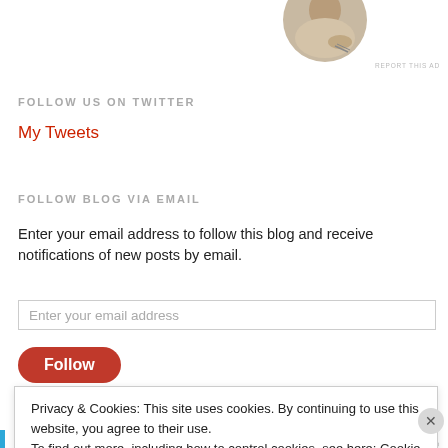[Figure (photo): Circular profile photo of a person writing, partially cropped at top]
FOLLOW US ON TWITTER
My Tweets
FOLLOW BLOG VIA EMAIL
Enter your email address to follow this blog and receive notifications of new posts by email.
Enter your email address
Follow
Privacy & Cookies: This site uses cookies. By continuing to use this website, you agree to their use.
To find out more, including how to control cookies, see here: Cookie Policy
Close and accept